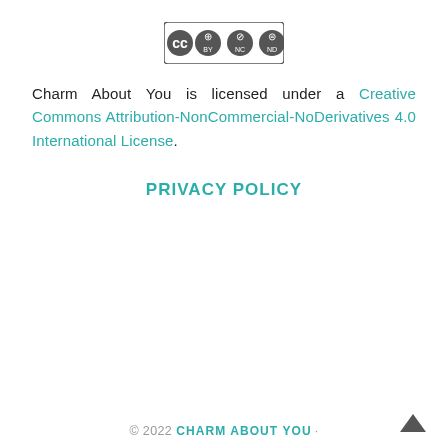[Figure (logo): Creative Commons BY-NC-ND license badge/logo]
Charm About You is licensed under a Creative Commons Attribution-NonCommercial-NoDerivatives 4.0 International License.
PRIVACY POLICY
© 2022 CHARM ABOUT YOU ·